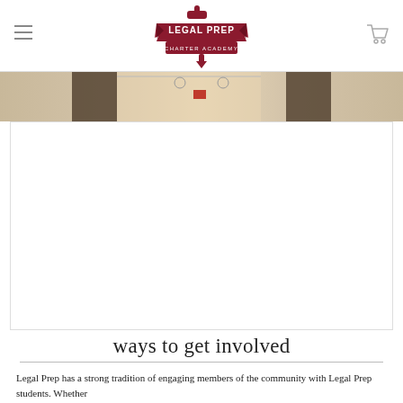Legal Prep Charter Academy
[Figure (photo): Partial banner photo of school interior/classroom]
[Figure (photo): White content area (large image placeholder)]
ways to get involved
Legal Prep has a strong tradition of engaging members of the community with Legal Prep students. Whether...